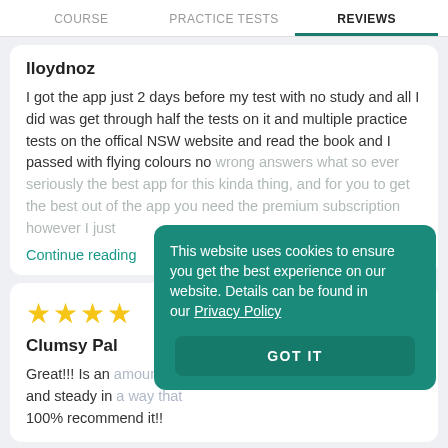COURSE | PRACTICE TESTS | REVIEWS
lloydnoz
I got the app just 2 days before my test with no study and all I did was get through half the tests on it and multiple practice tests on the offical NSW website and read the book and I passed with flying colours no wrong answers what so ever seriously the best app for this kinda thing, and for you to get the best out of the app you need the premium subscription however I just
Continue reading
[Figure (other): Four gold star rating icons]
Clumsy Pal
Great!!! Is an and steady in 100% recommend it!!
This website uses cookies to ensure you get the best experience on our website. Details can be found in our Privacy Policy
GOT IT